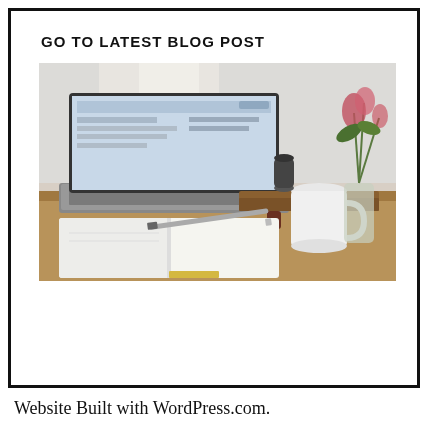GO TO LATEST BLOG POST
[Figure (photo): A workspace scene with an open laptop displaying a website, an open notebook with a pen resting on it, a white mug, a small black object, and a vase with flowers, all on a wooden desk near a bright window.]
Website Built with WordPress.com.